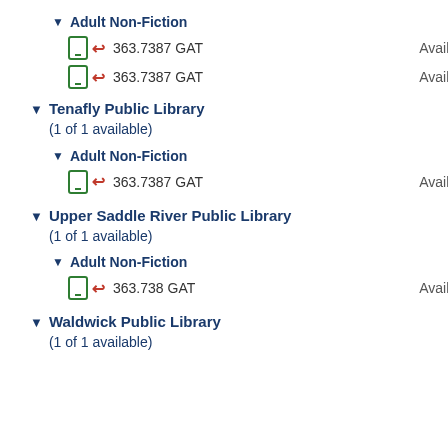▼ Adult Non-Fiction
363.7387 GAT — Available
363.7387 GAT — Available
▼ Tenafly Public Library (1 of 1 available)
▼ Adult Non-Fiction
363.7387 GAT — Available
▼ Upper Saddle River Public Library (1 of 1 available)
▼ Adult Non-Fiction
363.738 GAT — Available
▼ Waldwick Public Library (1 of 1 available)